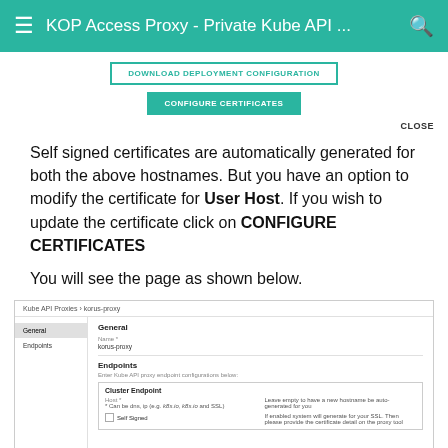KOP Access Proxy - Private Kube API ...
[Figure (screenshot): Two buttons: 'DOWNLOAD DEPLOYMENT CONFIGURATION' (outlined teal) and 'CONFIGURE CERTIFICATES' (filled teal)]
CLOSE
Self signed certificates are automatically generated for both the above hostnames. But you have an option to modify the certificate for User Host. If you wish to update the certificate click on CONFIGURE CERTIFICATES
You will see the page as shown below.
[Figure (screenshot): Screenshot of Kube API Proxy settings page showing General section with a 'Name' field set to 'korus-proxy', and Endpoints section with a Cluster Endpoint subsection including Host field and Self Signed checkbox.]